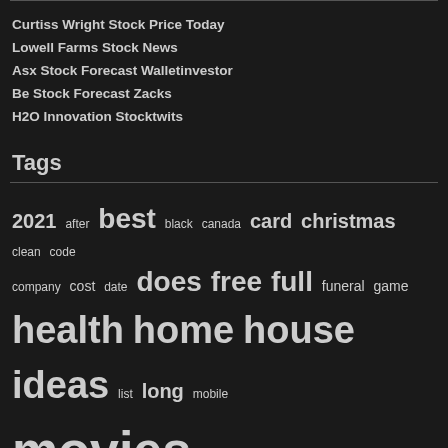Curtiss Wright Stock Price Today
Lowell Farms Stock News
Asx Stock Forecast Walletinvestor
Be Stock Forecast Zacks
H2O Innovation Stocktwits
Tags
2021 after best black canada card christmas clean code company cost date does free full funeral game health home house ideas list long mobile movies much near number online phone price service stock